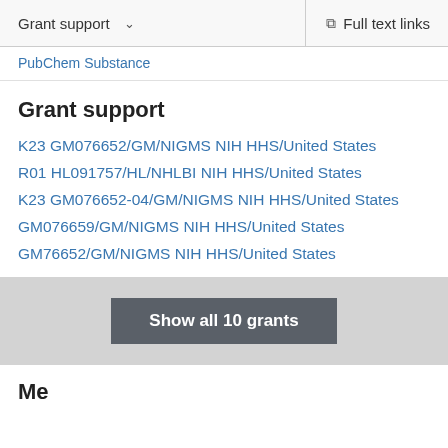Grant support  ∨   Full text links
PubChem Substance
Grant support
K23 GM076652/GM/NIGMS NIH HHS/United States
R01 HL091757/HL/NHLBI NIH HHS/United States
K23 GM076652-04/GM/NIGMS NIH HHS/United States
GM076659/GM/NIGMS NIH HHS/United States
GM76652/GM/NIGMS NIH HHS/United States
Show all 10 grants